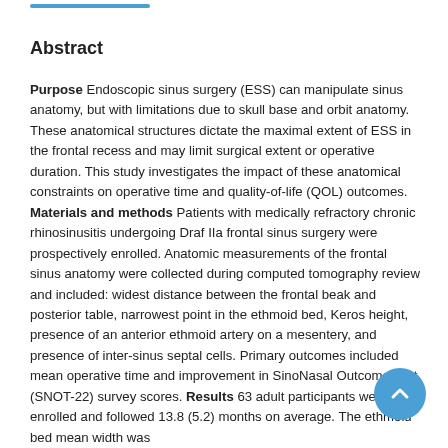Abstract
Purpose Endoscopic sinus surgery (ESS) can manipulate sinus anatomy, but with limitations due to skull base and orbit anatomy. These anatomical structures dictate the maximal extent of ESS in the frontal recess and may limit surgical extent or operative duration. This study investigates the impact of these anatomical constraints on operative time and quality-of-life (QOL) outcomes. Materials and methods Patients with medically refractory chronic rhinosinusitis undergoing Draf IIa frontal sinus surgery were prospectively enrolled. Anatomic measurements of the frontal sinus anatomy were collected during computed tomography review and included: widest distance between the frontal beak and posterior table, narrowest point in the ethmoid bed, Keros height, presence of an anterior ethmoid artery on a mesentery, and presence of inter-sinus septal cells. Primary outcomes included mean operative time and improvement in SinoNasal Outcome Test (SNOT-22) survey scores. Results 63 adult participants were enrolled and followed 13.8 (5.2) months on average. The ethmoid bed mean width was